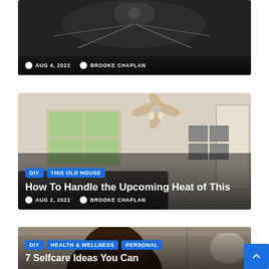[Figure (photo): Partial top card with dark background - home interior photo (top portion cut off)]
AUG 4, 2022  BROOKE CHAPLAN
[Figure (photo): Bedroom interior with ceiling fan, windows, and bed - article card image]
DIY  THIS OLD HOUSE
How To Handle the Upcoming Heat of This
AUG 2, 2022  BROOKE CHAPLAN
[Figure (photo): Person doing self-care - article card image (partially visible)]
DIY  HEALTH & WELLNESS  PERSONAL
7 Selfcare Ideas You Can